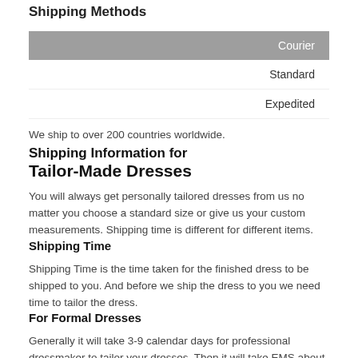Shipping Methods
| Courier |
| --- |
| Standard |
| Expedited |
We ship to over 200 countries worldwide.
Shipping Information for
Tailor-Made Dresses
You will always get personally tailored dresses from us no matter you choose a standard size or give us your custom measurements. Shipping time is different for different items.
Shipping Time
Shipping Time is the time taken for the finished dress to be shipped to you. And before we ship the dress to you we need time to tailor the dress.
For Formal Dresses
Generally it will take 3-9 calendar days for professional dressmaker to tailor your dresses. Then it will take EMS about